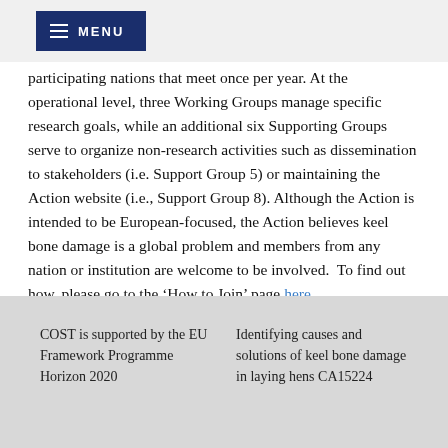MENU
participating nations that meet once per year. At the operational level, three Working Groups manage specific research goals, while an additional six Supporting Groups serve to organize non-research activities such as dissemination to stakeholders (i.e. Support Group 5) or maintaining the Action website (i.e., Support Group 8). Although the Action is intended to be European-focused, the Action believes keel bone damage is a global problem and members from any nation or institution are welcome to be involved.  To find out how, please go to the ‘How to Join’ page here.
COST is supported by the EU Framework Programme Horizon 2020
Identifying causes and solutions of keel bone damage in laying hens CA15224